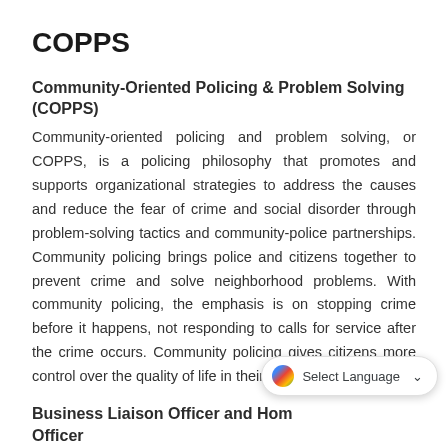COPPS
Community-Oriented Policing & Problem Solving (COPPS)
Community-oriented policing and problem solving, or COPPS, is a policing philosophy that promotes and supports organizational strategies to address the causes and reduce the fear of crime and social disorder through problem-solving tactics and community-police partnerships. Community policing brings police and citizens together to prevent crime and solve neighborhood problems. With community policing, the emphasis is on stopping crime before it happens, not responding to calls for service after the crime occurs. Community policing gives citizens more control over the quality of life in their community.
Business Liaison Officer and Home Officer